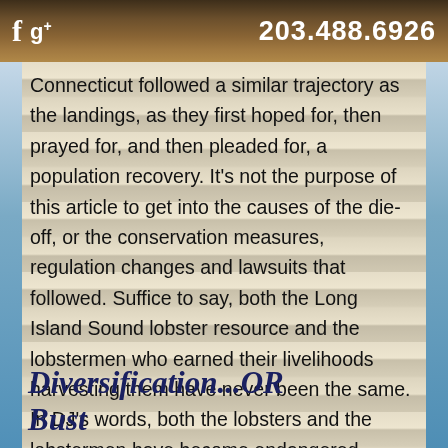f g+ 203.488.6926
Connecticut followed a similar trajectory as the landings, as they first hoped for, then prayed for, and then pleaded for, a population recovery. It's not the purpose of this article to get into the causes of the die-off, or the conservation measures, regulation changes and lawsuits that followed. Suffice to say, both the Long Island Sound lobster resource and the lobstermen who earned their livelihoods harvesting them have never been the same. In DJ's words, both the lobsters and the lobstermen have become endangered species.
Diversification...or Bust